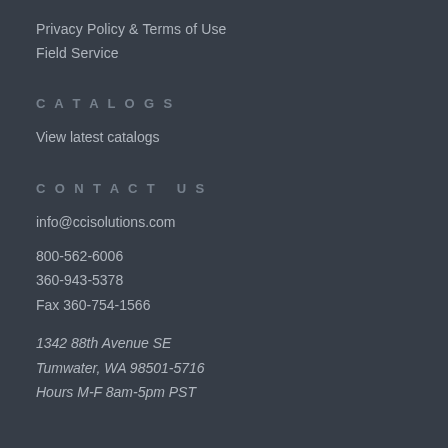Privacy Policy & Terms of Use
Field Service
CATALOGS
View latest catalogs
CONTACT US
info@ccisolutions.com
800-562-6006
360-943-5378
Fax 360-754-1566
1342 88th Avenue SE
Tumwater, WA 98501-5716
Hours M-F 8am-5pm PST